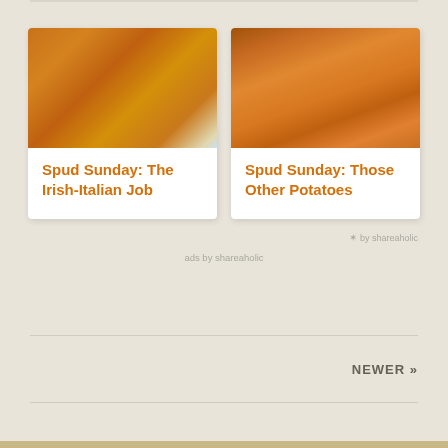[Figure (photo): Card with lasagna/baked dish photo above title]
Spud Sunday: The Irish-Italian Job
[Figure (photo): Card with sweet potato cross-section photo above title]
Spud Sunday: Those Other Potatoes
✶ by shareaholic
ads by shareaholic
NEWER »